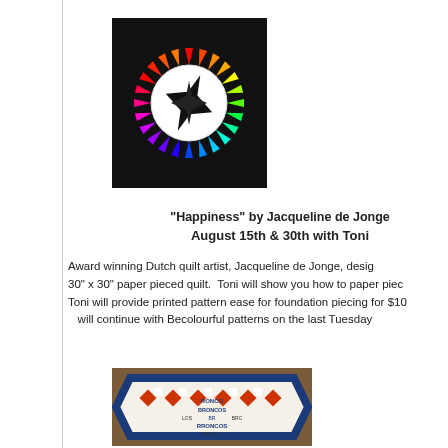[Figure (photo): A colorful mariner's compass quilt design on black background with rainbow-colored pointed star spikes arranged in a circle, with a smaller black star in the center on a white circle.]
"Happiness" by Jacqueline de Jonge
August 15th & 30th with Toni
Award winning Dutch quilt artist, Jacqueline de Jonge, desig... 30" x 30" paper pieced quilt.  Toni will show you how to paper piec... Toni will provide printed pattern ease for foundation piecing for $10... will continue with Becolourful patterns on the last Tuesday...
[Figure (photo): A table runner or small quilt featuring Broncos sports team fabric in orange, blue, and white with a diamond/square pattern.]